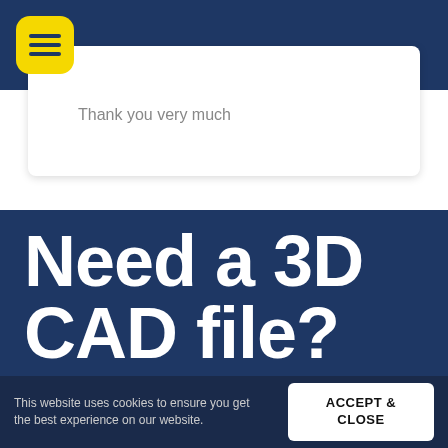[Figure (screenshot): Yellow rounded square menu button with three horizontal lines (hamburger icon) on dark blue navigation bar background]
Thank you very much
Need a 3D CAD file?
If you have an idea you want to bring to life, need a design verification, our designers are
This website uses cookies to ensure you get the best experience on our website.
ACCEPT & CLOSE